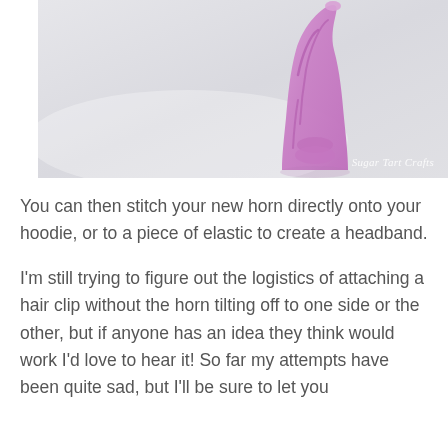[Figure (photo): Close-up photo of a purple/pink fabric unicorn horn on a light grey/white background, with a watermark reading 'Sugar Tart Crafts' in the bottom right corner.]
You can then stitch your new horn directly onto your hoodie, or to a piece of elastic to create a headband.
I'm still trying to figure out the logistics of attaching a hair clip without the horn tilting off to one side or the other, but if anyone has an idea they think would work I'd love to hear it! So far my attempts have been quite sad, but I'll be sure to let you